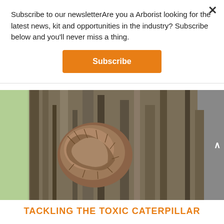Subscribe to our newsletterAre you a Arborist looking for the latest news, kit and opportunities in the industry? Subscribe below and you'll never miss a thing.
Subscribe
[Figure (photo): Close-up photograph of a tree trunk with rough bark, showing what appears to be a caterpillar nest or silk web mass attached to the bark surface.]
TACKLING THE TOXIC CATERPILLAR